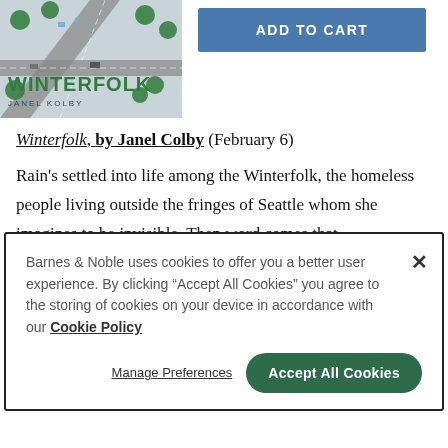[Figure (photo): Book cover for 'Winterfolk' by Janel Kolby — aerial/overhead view of roads and trees with the title in green bold text and author name below in small caps.]
ADD TO CART
Winterfolk, by Janel Colby (February 6)
Rain's settled into life among the Winterfolk, the homeless people living outside the fringes of Seattle whom she imagines to be invisible. Then word comes that
Barnes & Noble uses cookies to offer you a better user experience. By clicking "Accept All Cookies" you agree to the storing of cookies on your device in accordance with our Cookie Policy
Manage Preferences
Accept All Cookies